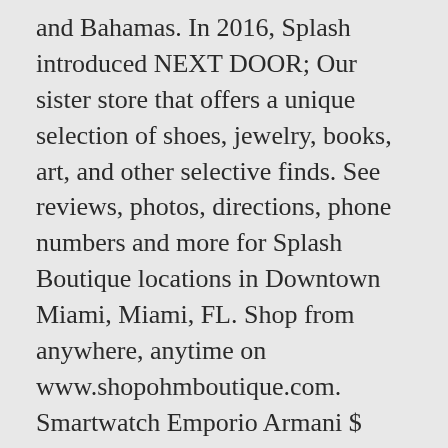and Bahamas. In 2016, Splash introduced NEXT DOOR; Our sister store that offers a unique selection of shoes, jewelry, books, art, and other selective finds. See reviews, photos, directions, phone numbers and more for Splash Boutique locations in Downtown Miami, Miami, FL. Shop from anywhere, anytime on www.shopohmboutique.com. Smartwatch Emporio Armani $ 179.990 $ 150.000 ¡Oferta! 12 Street, Homestead Located directly across the street from MAST Medical Find 38 listings related to Splash in Miami on YP.com. Zoo Miami is open daily from 10 a.m. to 5 p.m. All Zoo Miami splash parks are free with admission. We can offer a unique experience to